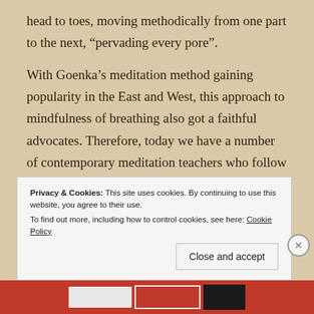head to toes, moving methodically from one part to the next, “pervading every pore”.
With Goenka’s meditation method gaining popularity in the East and West, this approach to mindfulness of breathing also got a faithful advocates. Therefore, today we have a number of contemporary meditation teachers who follow the same interpretation of the sutta text. But not all decided to take side and some modern teachers find themselves somewhere in the middle of this spectrum. Let’s mention just one of them, Joseph
Privacy & Cookies: This site uses cookies. By continuing to use this website, you agree to their use.
To find out more, including how to control cookies, see here: Cookie Policy
Close and accept